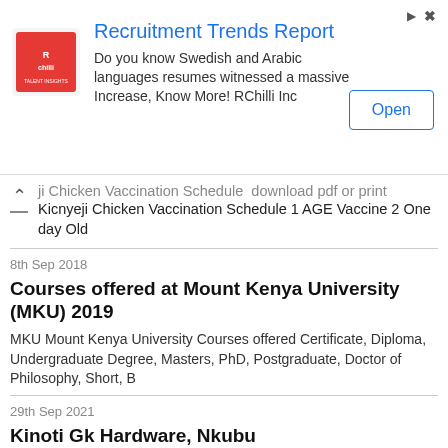[Figure (infographic): Advertisement banner for RChilli Recruitment Trends Report with logo, description text, and Open button]
ji Chicken Vaccination Schedule  download pdf or print
Kicnyeji Chicken Vaccination Schedule 1 AGE Vaccine 2 One day Old
8th Sep 2018
Courses offered at Mount Kenya University (MKU) 2019
MKU Mount Kenya University Courses offered Certificate, Diploma, Undergraduate Degree, Masters, PhD, Postgraduate, Doctor of Philosophy, Short, B
29th Sep 2021
Kinoti Gk Hardware, Nkubu
Kinoti GK Hardware is located in Meru Nkubu, Kenya. Kinoti